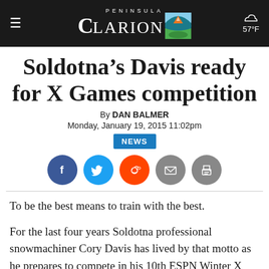Peninsula Clarion — 57°F
Soldotna's Davis ready for X Games competition
By DAN BALMER
Monday, January 19, 2015 11:02pm
NEWS
[Figure (infographic): Social share icons: Facebook, Twitter, Reddit, Email, Print]
To be the best means to train with the best.
For the last four years Soldotna professional snowmachiner Cory Davis has lived by that motto as he prepares to compete in his 10th ESPN Winter X Games competition Thursday through Sunday in